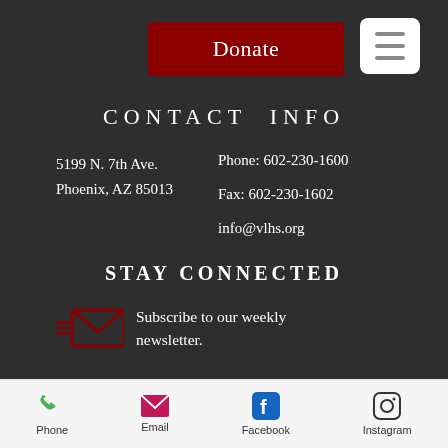[Figure (screenshot): Donate button (dark red) and hamburger menu icon (white box with three lines)]
CONTACT INFO
5199 N. 7th Ave.
Phoenix, AZ 85013
Phone: 602-230-1600
Fax: 602-230-1602
info@vlhs.org
STAY CONNECTED
Subscribe to our weekly newsletter.
Phone   Email   Facebook   Instagram